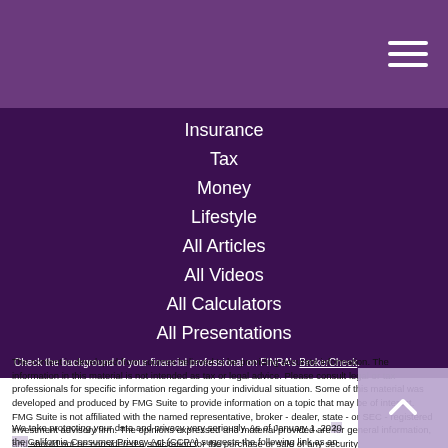Insurance
Tax
Money
Lifestyle
All Articles
All Videos
All Calculators
All Presentations
Check the background of your financial professional on FINRA’s BrokerCheck.
The content is developed from sources believed to be providing accurate information. The information in this material is not intended as tax or legal advice. Please consult legal or tax professionals for specific information regarding your individual situation. Some of this material was developed and produced by FMG Suite to provide information on a topic that may be of interest. FMG Suite is not affiliated with the named representative, broker - dealer, state - or SEC - registered investment advisory firm. The opinions expressed and material provided are for general information, and should not be considered a solicitation for the purchase or sale of any security.
We take protecting your data and privacy very seriously. As of January 1, 2020 the California Consumer Privacy Act (CCPA) suggests the following link as an extra measure to safeguard your data: Do not sell my personal information.